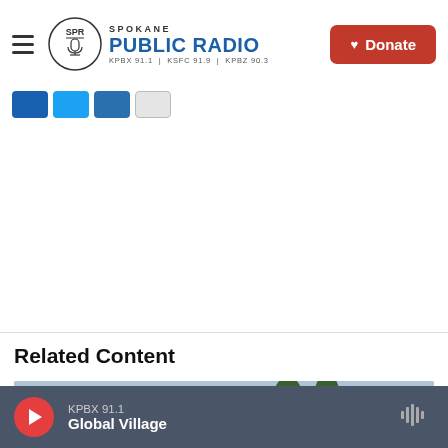Spokane Public Radio — KPBX 91.1 | KSFC 91.9 | KPBZ 90.3 — Donate
[Figure (screenshot): Social media share icons: Facebook, Twitter, LinkedIn, Email]
Related Content
[Figure (photo): Photo of a woman in a striped dress walking past a concrete wall with graffiti reading 'You Welcome Here']
KPBX 91.1 — Global Village (audio player bar)